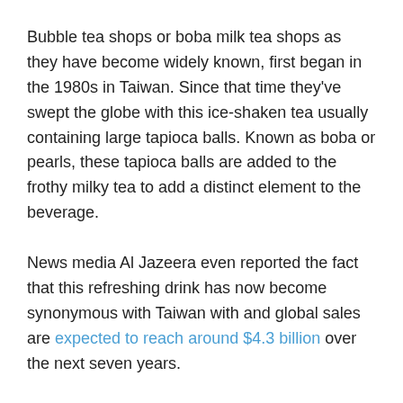Bubble tea shops or boba milk tea shops as they have become widely known, first began in the 1980s in Taiwan. Since that time they've swept the globe with this ice-shaken tea usually containing large tapioca balls. Known as boba or pearls, these tapioca balls are added to the frothy milky tea to add a distinct element to the beverage.
News media Al Jazeera even reported the fact that this refreshing drink has now become synonymous with Taiwan with and global sales are expected to reach around $4.3 billion over the next seven years.
In the last 30 years, these shops have popped up from Taipei to New York and Singapore to San Antonio. The popular drink has been seen in political circles too with the Taiwanese Foreign Minister Joseph Wu sharing one with the Japanese